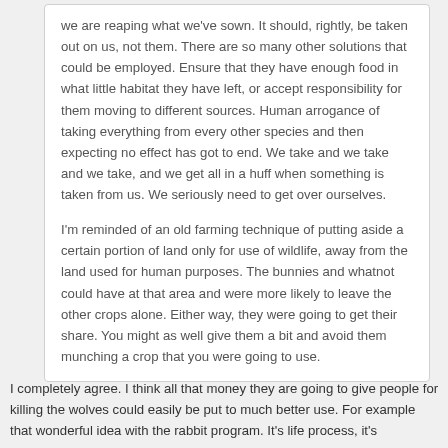we are reaping what we've sown. It should, rightly, be taken out on us, not them. There are so many other solutions that could be employed. Ensure that they have enough food in what little habitat they have left, or accept responsibility for them moving to different sources. Human arrogance of taking everything from every other species and then expecting no effect has got to end. We take and we take and we take, and we get all in a huff when something is taken from us. We seriously need to get over ourselves.
I'm reminded of an old farming technique of putting aside a certain portion of land only for use of wildlife, away from the land used for human purposes. The bunnies and whatnot could have at that area and were more likely to leave the other crops alone. Either way, they were going to get their share. You might as well give them a bit and avoid them munching a crop that you were going to use.
I completely agree. I think all that money they are going to give people for killing the wolves could easily be put to much better use. For example that wonderful idea with the rabbit program. It's life process, it's